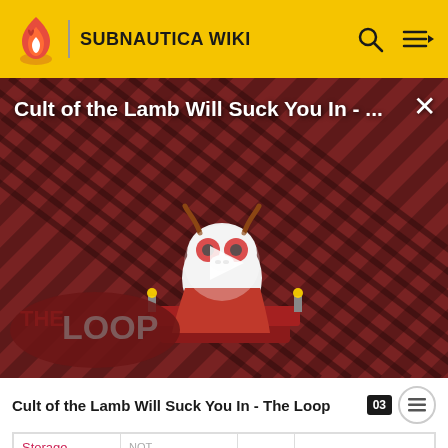SUBNAUTICA WIKI
[Figure (screenshot): Video thumbnail for 'Cult of the Lamb Will Suck You In - The Loop' showing a cartoon lamb character with red eyes on a striped dark red background, with a play button overlay and 'THE LOOP' text badge at bottom left]
Cult of the Lamb Will Suck You In - The Loop
|  |  |  |  |
| --- | --- | --- | --- |
| Storage Module | NOT compatible. |  |  |
|  | Recharges | See | syncwitherms |